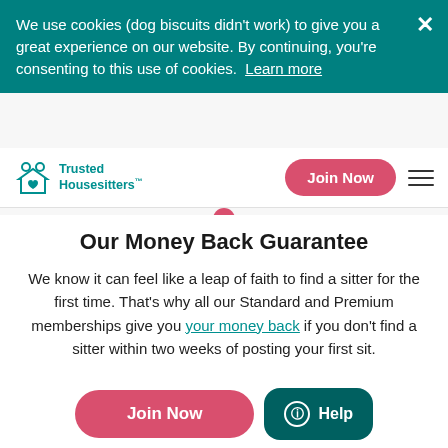We use cookies (dog biscuits didn't work) to give you a great experience on our website. By continuing, you're consenting to this use of cookies. Learn more
Trusted Housesitters
Our Money Back Guarantee
We know it can feel like a leap of faith to find a sitter for the first time. That's why all our Standard and Premium memberships give you your money back if you don't find a sitter within two weeks of posting your first sit.